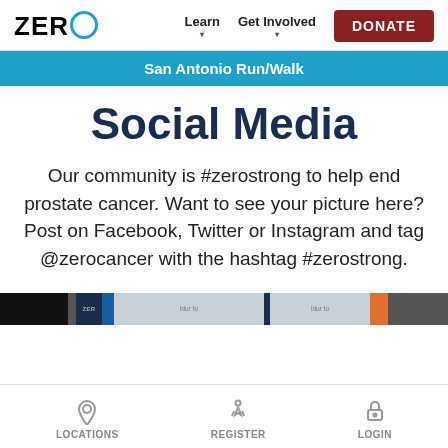ZERO — Learn | Get Involved | DONATE
San Antonio Run/Walk
Social Media
Our community is #zerostrong to help end prostate cancer. Want to see your picture here? Post on Facebook, Twitter or Instagram and tag @zerocancer with the hashtag #zerostrong.
[Figure (photo): Partial strip of social media photo thumbnails at the bottom of the content area]
LOCATIONS | REGISTER | LOGIN